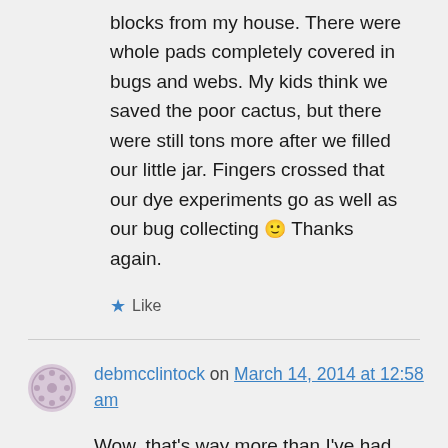blocks from my house. There were whole pads completely covered in bugs and webs. My kids think we saved the poor cactus, but there were still tons more after we filled our little jar. Fingers crossed that our dye experiments go as well as our bug collecting 🙂 Thanks again.
★ Like
debmcclintock on March 14, 2014 at 12:58 am
Wow, that's way more than I've had access to! Enjoy the color!